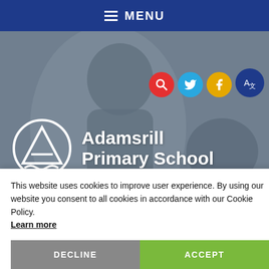MENU
[Figure (screenshot): Hero image of school website showing Adamsrill Primary School logo and name over a background photo of students with teachers. Social media icons (search, Twitter, Facebook, translate) in top right.]
This website uses cookies to improve user experience. By using our website you consent to all cookies in accordance with our Cookie Policy. Learn more
DECLINE
ACCEPT